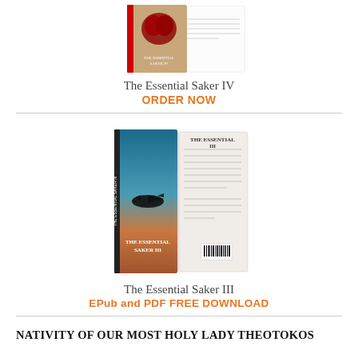[Figure (photo): The Essential Saker IV book cover showing front and back of book with anatomical heart design]
The Essential Saker IV
ORDER NOW
[Figure (photo): The Essential Saker III book cover showing front and back of book with fighter jet silhouette against sunset sky]
The Essential Saker III
EPub and PDF FREE DOWNLOAD
NATIVITY OF OUR MOST HOLY LADY THEOTOKOS